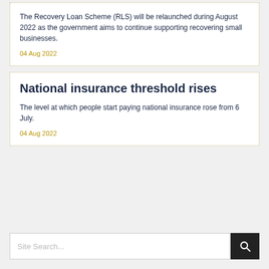The Recovery Loan Scheme (RLS) will be relaunched during August 2022 as the government aims to continue supporting recovering small businesses.
04 Aug 2022
National insurance threshold rises
The level at which people start paying national insurance rose from 6 July.
04 Aug 2022